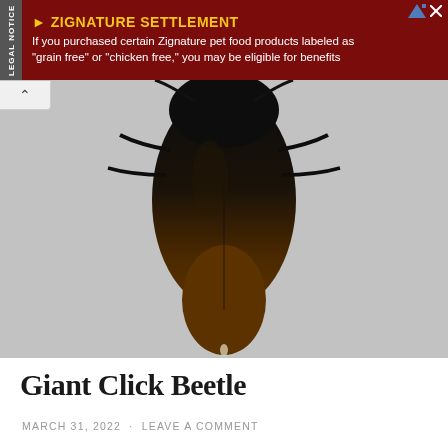[Figure (other): Advertisement banner: ZIGNATURE SETTLEMENT legal notice. Dark red background with yellow bold heading 'ZIGNATURE SETTLEMENT' and white body text: 'If you purchased certain Zignature pet food products labeled as "grain free" or "chicken free," you may be eligible for benefits'. Left side has vertical 'LEGAL NOTICE' label.]
[Figure (photo): Close-up photograph of the underside/rear of a Giant Click Beetle against a light grey background. The beetle appears dark black on the upper portion transitioning to a dark brown at the lower tip.]
Giant Click Beetle
MARCH 31, 2022 · LEAVE A COMMENT